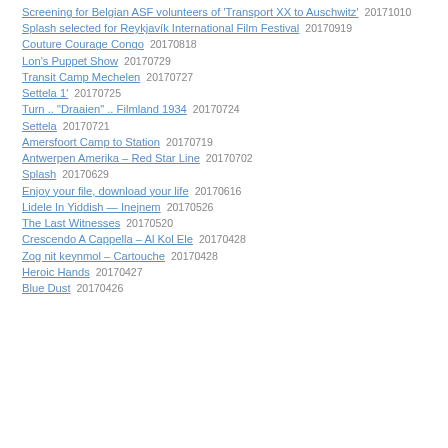Screening for Belgian ASF volunteers of 'Transport XX to Auschwitz'  20171010
Splash selected for Reykjavík International Film Festival  20170919
Couture Courage Congo  20170818
Lon's Puppet Show  20170729
Transit Camp Mechelen  20170727
Settela 1'  20170725
Turn .. "Draaien" .. Filmland 1934  20170724
Settela  20170721
Amersfoort Camp to Station  20170719
Antwerpen Amerika – Red Star Line  20170702
Splash  20170629
Enjoy your file, download your life  20170616
Lidele In Yiddish — Inejnem  20170526
The Last Witnesses  20170520
Crescendo A Cappella – Al Kol Ele  20170428
Zog nit keynmol – Cartouche  20170428
Heroic Hands  20170427
Blue Dust  20170426